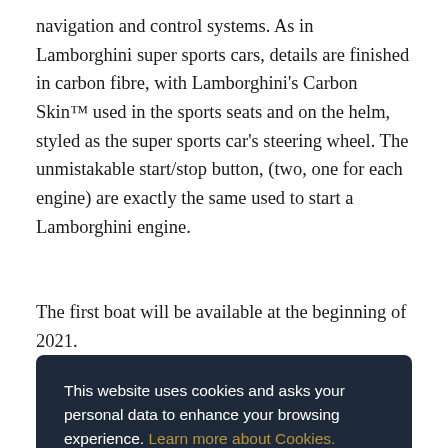navigation and control systems. As in Lamborghini super sports cars, details are finished in carbon fibre, with Lamborghini's Carbon Skin™ used in the sports seats and on the helm, styled as the super sports car's steering wheel. The unmistakable start/stop button, (two, one for each engine) are exactly the same used to start a Lamborghini engine.
The first boat will be available at the beginning of 2021.
This website uses cookies and asks your personal data to enhance your browsing experience. Learn more about Cookies.